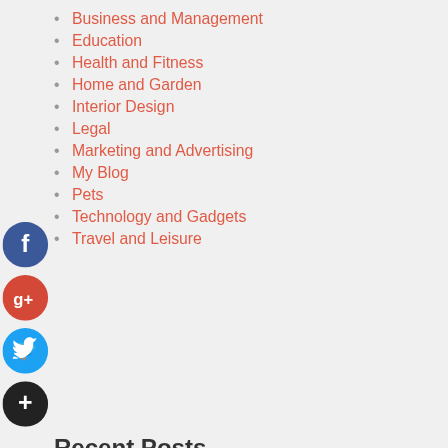Business and Management
Education
Health and Fitness
Home and Garden
Interior Design
Legal
Marketing and Advertising
My Blog
Pets
Technology and Gadgets
Travel and Leisure
[Figure (infographic): Social media icons: Facebook (blue circle with f), Google+ (red circle with g+), Twitter (blue circle with bird), Plus/Share (dark circle with +)]
Recent Posts
How Do NFTs Work On Project?
What Is The Best Meat Dicer